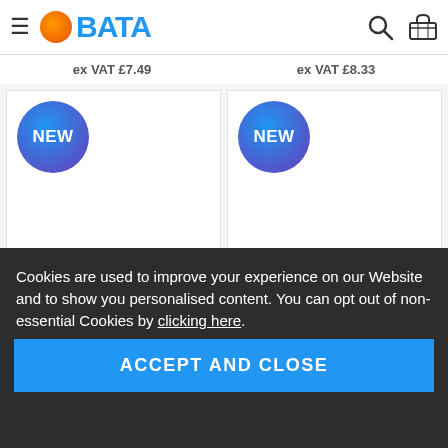BATA website header with hamburger menu, logo, search and basket icons
ex VAT £7.49    ex VAT £8.33
[Figure (screenshot): Two product cards each with a blue-purple gradient NEW badge circle, on white card backgrounds]
Cookies are used to improve your experience on our Website and to show you personalised content. You can opt out of non-essential Cookies by clicking here.
ACCEPT AND CLOSE
£9.99  ex VAT £8.33   £9.99  ex VAT £8.33
SHAGGY SHEEP G TOY 27CM    PETFACE CHUNKY CHICKEN TOY